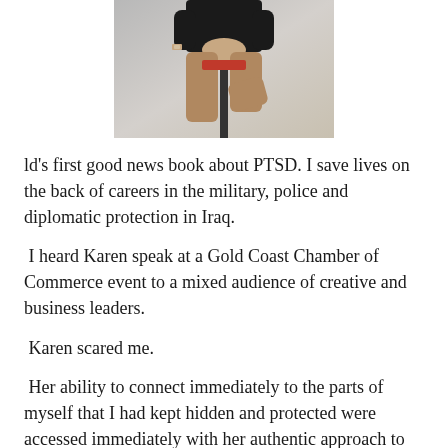[Figure (photo): Person sitting on a stool, wearing dark top and tan/khaki pants, hands clasped, photographed from mid-torso down against a grey gradient background.]
ld's first good news book about PTSD. I save lives on the back of careers in the military, police and diplomatic protection in Iraq.
I heard Karen speak at a Gold Coast Chamber of Commerce event to a mixed audience of creative and business leaders.
Karen scared me.
Her ability to connect immediately to the parts of myself that I had kept hidden and protected were accessed immediately with her authentic approach to dealing with bullies. As a bullied kid myself, I